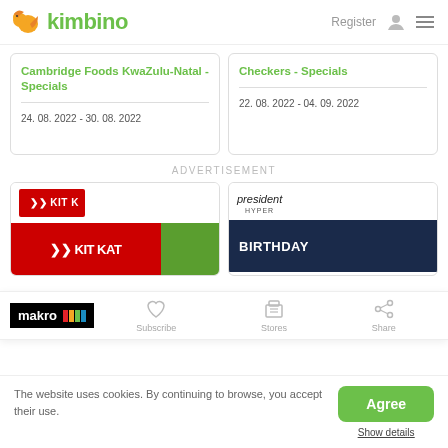kimbino — Register
Cambridge Foods KwaZulu-Natal - Specials
24. 08. 2022 - 30. 08. 2022
Checkers - Specials
22. 08. 2022 - 04. 09. 2022
ADVERTISEMENT
[Figure (screenshot): Kit Kat store logo and promotional banner with red background]
[Figure (screenshot): President Hyper store logo and birthday promotional banner with dark blue background]
[Figure (logo): Makro logo in black with coloured stripes]
Subscribe
Stores
Share
The website uses cookies. By continuing to browse, you accept their use.
Agree
Show details